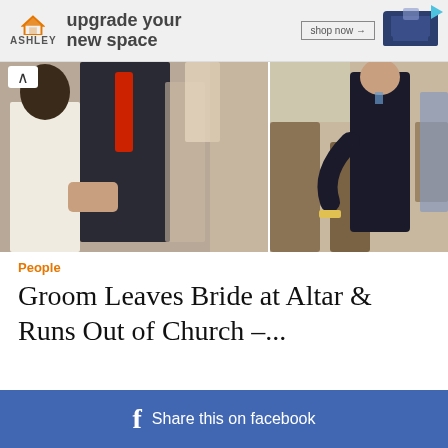[Figure (infographic): Ashley Furniture advertisement banner with house logo, 'upgrade your new space' text, 'shop now' button, and sofa image]
[Figure (photo): Two side-by-side wedding photos: left shows bride in white dress and groom in dark suit with red tie holding hands at altar; right shows man in dark suit walking away in church setting]
People
Groom Leaves Bride at Altar & Runs Out of Church –...
Share this on facebook